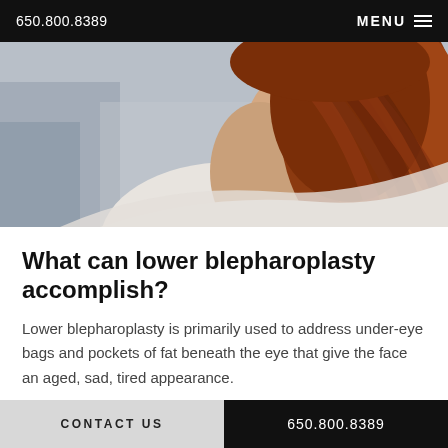650.800.8389   MENU
[Figure (photo): Close-up photo of a woman with long red hair, seen from behind/side, wearing a white top, blurred background]
What can lower blepharoplasty accomplish?
Lower blepharoplasty is primarily used to address under-eye bags and pockets of fat beneath the eye that give the face an aged, sad, tired appearance.
CONTACT US   650.800.8389